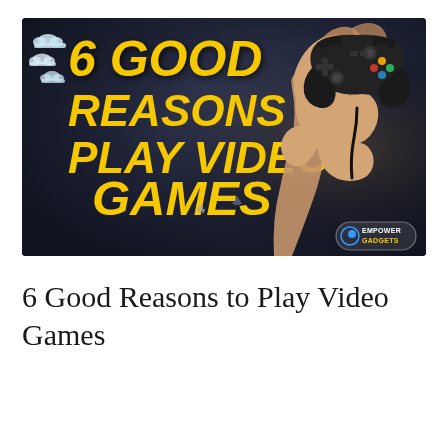[Figure (illustration): Dark-themed banner image with bold yellow italic text reading '6 GOOD REASONS TO PLAY VIDEO GAMES' on the left, small cloud icons in top-left corner, a hand holding a wired game controller on the right side, space invader pixel art icons in the lower middle, and an 'Empower Gadgets' logo badge in the bottom-right corner.]
6 Good Reasons to Play Video Games